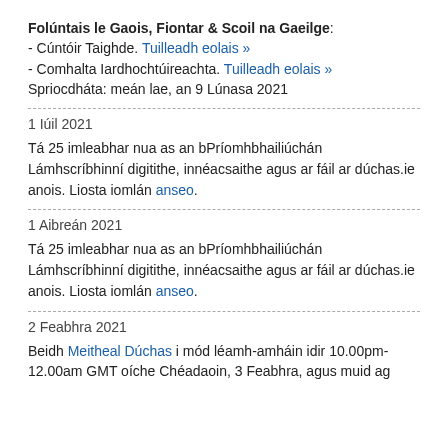Folúntais le Gaois, Fiontar & Scoil na Gaeilge: - Cúntóir Taighde. Tuilleadh eolais » - Comhalta Iardhochtúireachta. Tuilleadh eolais » Spriocdhátá: meán lae, an 9 Lúnasa 2021
1 Iúil 2021
Tá 25 imleabhar nua as an bPríomhbhailiúchán Lámhscríbhinní digitithe, innéacsaithe agus ar fáil ar dúchas.ie anois. Liosta iomlán anseo.
1 Aibreán 2021
Tá 25 imleabhar nua as an bPríomhbhailiúchán Lámhscríbhinní digitithe, innéacsaithe agus ar fáil ar dúchas.ie anois. Liosta iomlán anseo.
2 Feabhra 2021
Beidh Meitheal Dúchas i mód léamh-amháin idir 10.00pm-12.00am GMT oíche Chéadaoin, 3 Feabhra, agus muid ag